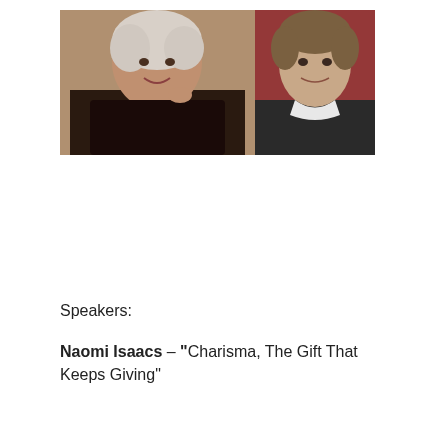[Figure (photo): Two side-by-side portrait photos. Left: elderly woman with white/grey hair, smiling, wearing dark floral top, indoor background. Right: middle-aged man with brown hair, smiling, wearing dark sweater with white collar, reddish/brown background.]
Speakers:
Naomi Isaacs – “Charisma, The Gift That Keeps Giving”